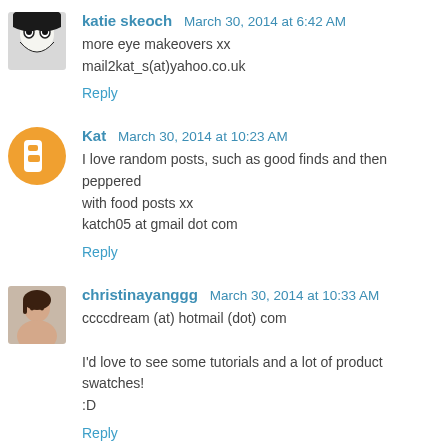katie skeoch  March 30, 2014 at 6:42 AM
more eye makeovers xx
mail2kat_s(at)yahoo.co.uk
Reply
Kat  March 30, 2014 at 10:23 AM
I love random posts, such as good finds and then peppered with food posts xx
katch05 at gmail dot com
Reply
christinayanggg  March 30, 2014 at 10:33 AM
ccccdream (at) hotmail (dot) com
I'd love to see some tutorials and a lot of product swatches! :D
Reply